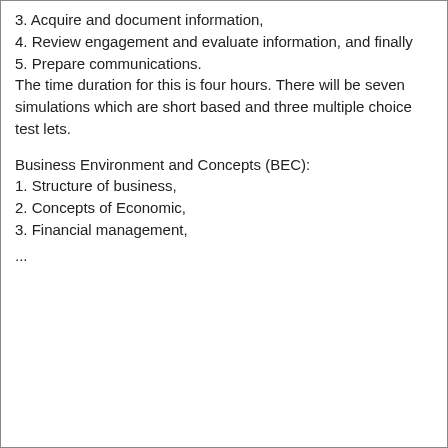3. Acquire and document information,
4. Review engagement and evaluate information, and finally
5. Prepare communications.
The time duration for this is four hours. There will be seven simulations which are short based and three multiple choice test lets.
Business Environment and Concepts (BEC):
1. Structure of business,
2. Concepts of Economic,
3. Financial management,
...